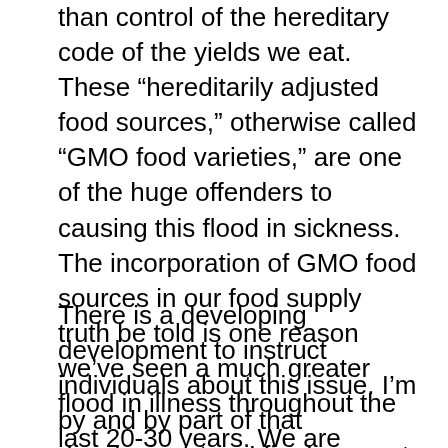than control of the hereditary code of the yields we eat. These “hereditarily adjusted food sources,” otherwise called “GMO food varieties,” are one of the huge offenders to causing this flood in sickness. The incorporation of GMO food sources in our food supply truth be told is one reason we’ve seen a much greater flood in illness throughout the last 20-30 years. We are obviously headed down a perilous way with our food supply.
There is a developing development to instruct individuals about this issue. I’m by and by part of that development as I firmly accept that changing your eating routine can forestall illness as well as opposite it! I have turned around my sort 2 diabetes and